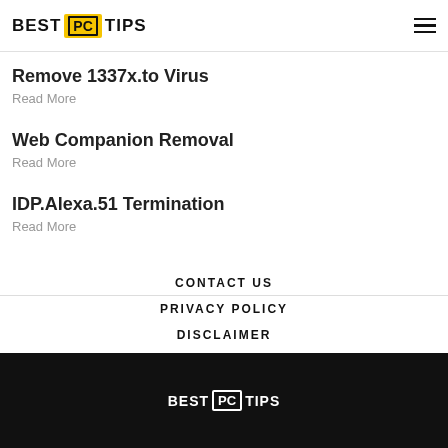BEST PC TIPS
Remove 1337x.to Virus
Read More
Web Companion Removal
Read More
IDP.Alexa.51 Termination
Read More
CONTACT US
PRIVACY POLICY
DISCLAIMER
BEST PC TIPS